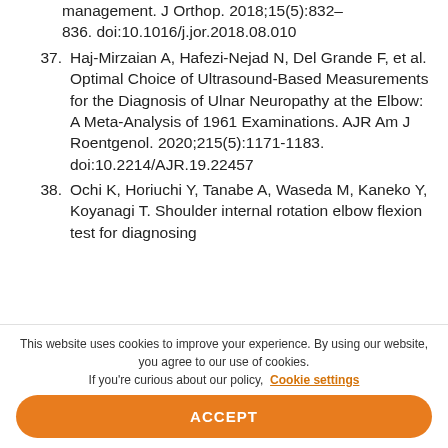management. J Orthop. 2018;15(5):832–836. doi:10.1016/j.jor.2018.08.010
37. Haj-Mirzaian A, Hafezi-Nejad N, Del Grande F, et al. Optimal Choice of Ultrasound-Based Measurements for the Diagnosis of Ulnar Neuropathy at the Elbow: A Meta-Analysis of 1961 Examinations. AJR Am J Roentgenol. 2020;215(5):1171-1183. doi:10.2214/AJR.19.22457
38. Ochi K, Horiuchi Y, Tanabe A, Waseda M, Kaneko Y, Koyanagi T. Shoulder internal rotation elbow flexion test for diagnosing…
This website uses cookies to improve your experience. By using our website, you agree to our use of cookies. If you're curious about our policy, Cookie settings
ACCEPT